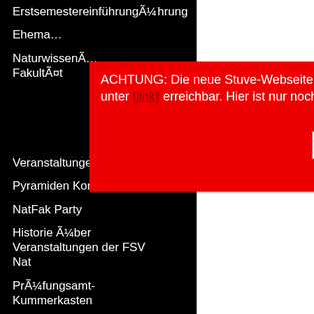ErstsemestereinführungÃ¼hrung
Ehema…
NaturwissenÃ… FakultÃ¤t
[Figure (screenshot): Red alert box overlay with text: ACHTUNG: Die neue Stuve-Webseite ist unter [link] erreichbar. Hier ist nur noch, with a white X close button]
Veranstaltungen rchiv.
Pyramiden Konferenz
NatFak Party
Historie Ã¼ber Veranstaltungen der FSV Nat
PrÃ¼fungsamt-Kummerkasten
Fachschaftsinitiativen (FSIen)
Infos fÃ¼r FSIen
Vernetzungstreffen
Haushaltsmittel
Sitzungen und Protokolle
We m have, in the partic inc, w In a p gamb estab after a forwa altern had g
Along exclus off on Police the ne believ may h things
Down comm easy c a Sea